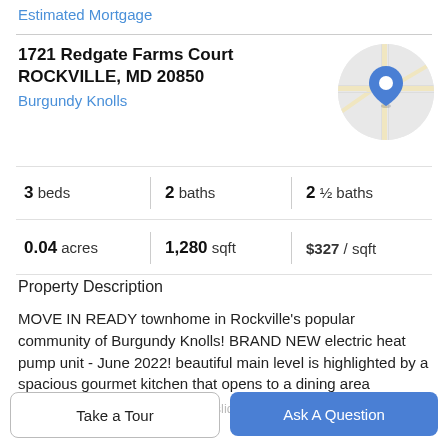Estimated Mortgage
1721 Redgate Farms Court
ROCKVILLE, MD 20850
Burgundy Knolls
[Figure (map): Circular map thumbnail showing street map with a blue location pin marker in the center]
3 beds   2 baths   2 ½ baths
0.04 acres   1,280 sqft   $327 / sqft
Property Description
MOVE IN READY townhome in Rockville's popular community of Burgundy Knolls! BRAND NEW electric heat pump unit - June 2022! beautiful main level is highlighted by a spacious gourmet kitchen that opens to a dining area
and living room with fireplace and sliding glass door to the
Take a Tour
Ask A Question